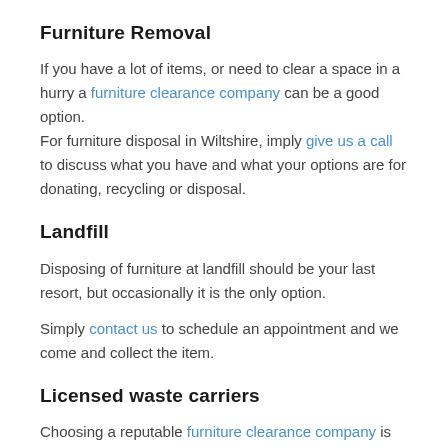Furniture Removal
If you have a lot of items, or need to clear a space in a hurry a furniture clearance company can be a good option.
For furniture disposal in Wiltshire, imply give us a call to discuss what you have and what your options are for donating, recycling or disposal.
Landfill
Disposing of furniture at landfill should be your last resort, but occasionally it is the only option.
Simply contact us to schedule an appointment and we come and collect the item.
Licensed waste carriers
Choosing a reputable furniture clearance company is very important.